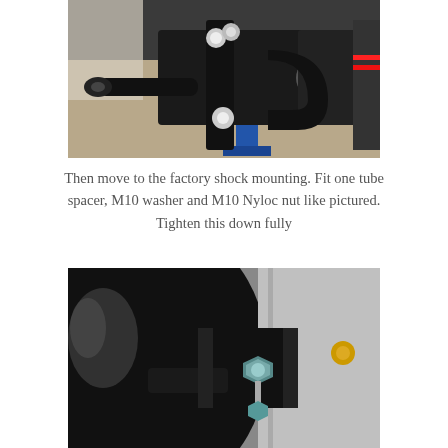[Figure (photo): Close-up photo of black metal suspension/shock mounting hardware including bolts, nuts, brackets and a tie rod end, with a blue hydraulic jack stand visible in the background on a concrete floor in a garage setting.]
Then move to the factory shock mounting. Fit one tube spacer, M10 washer and M10 Nyloc nut like pictured. Tighten this down fully
[Figure (photo): Close-up photo of a black metal suspension bracket with a bolt and nut assembly, showing the factory shock mounting point being assembled, with a silver/grey structural component visible in the background.]